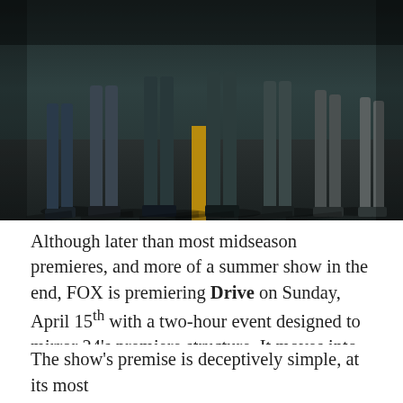[Figure (photo): Photo showing the lower bodies and legs of multiple people standing on a road with a yellow center line, shot from a low angle. Dark, cinematic tone.]
Although later than most midseason premieres, and more of a summer show in the end, FOX is premiering Drive on Sunday, April 15th with a two-hour event designed to mirror 24's premiere structure. It moves into the 8pm Monday Prison Break timeslot the following night, and I
Privacy & Cookies: This site uses cookies. By continuing to use this website, you agree to their use.
To find out more, including how to control cookies, see here: Cookie Policy
Close and accept
The show's premise is deceptively simple, at its most